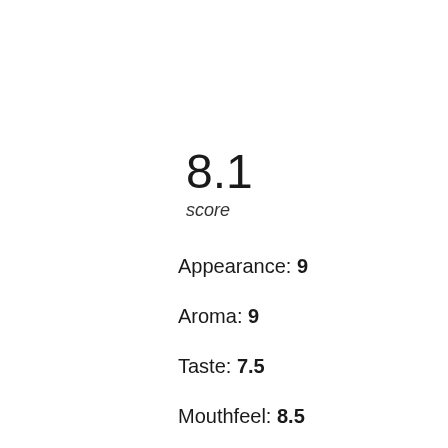8.1
score
Appearance: 9
Aroma: 9
Taste: 7.5
Mouthfeel: 8.5
Branding: 6.5